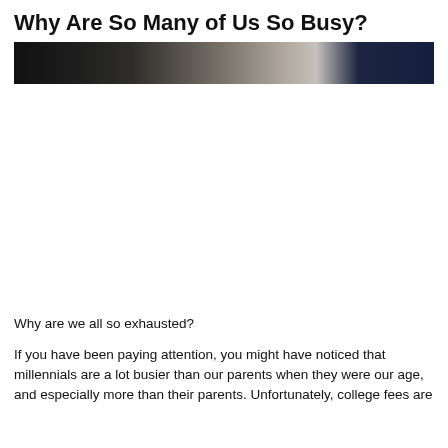Why Are So Many of Us So Busy?
[Figure (photo): A dark horizontal photo strip showing blurred background scene, appears to be people or figures in a dimly lit environment with dark and beige tones.]
Why are we all so exhausted?
If you have been paying attention, you might have noticed that millennials are a lot busier than our parents when they were our age, and especially more than their parents. Unfortunately, college fees are